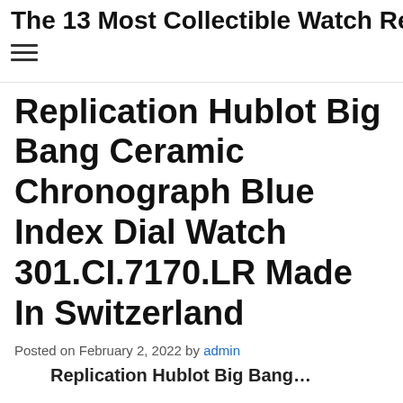The 13 Most Collectible Watch Re…
Replication Hublot Big Bang Ceramic Chronograph Blue Index Dial Watch 301.CI.7170.LR Made In Switzerland
Posted on February 2, 2022 by admin
Replication Hublot Big Bang…